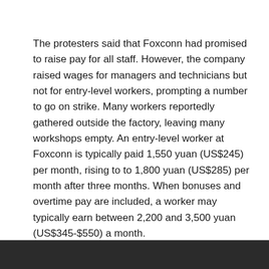The protesters said that Foxconn had promised to raise pay for all staff. However, the company raised wages for managers and technicians but not for entry-level workers, prompting a number to go on strike. Many workers reportedly gathered outside the factory, leaving many workshops empty. An entry-level worker at Foxconn is typically paid 1,550 yuan (US$245) per month, rising to to 1,800 yuan (US$285) per month after three months. When bonuses and overtime pay are included, a worker may typically earn between 2,200 and 3,500 yuan (US$345-$550) a month.